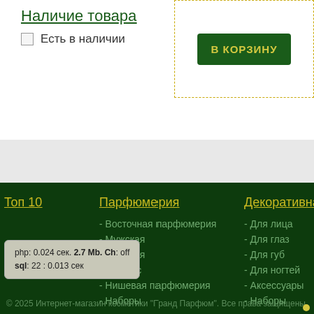Наличие товара
Есть в наличии
В КОРЗИНУ
Топ 10
Парфюмерия
- Восточная парфюмерия
- Мужская
- Женская
- Унисекс
- Нишевая парфюмерия
- Наборы
Декоративна
- Для лица
- Для глаз
- Для губ
- Для ногтей
- Аксессуары
- Наборы
php: 0.024 сек. 2.7 Mb. Ch: off
sql: 22 : 0.013 сек
© 2025 Интернет-магазин косметики "Гранд Парфюм". Все права защищены.